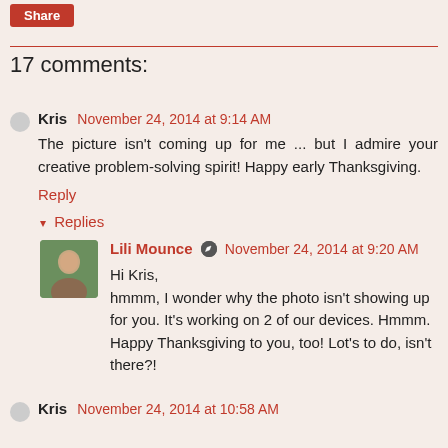Share
17 comments:
Kris November 24, 2014 at 9:14 AM
The picture isn't coming up for me ... but I admire your creative problem-solving spirit! Happy early Thanksgiving.
Reply
▼ Replies
Lili Mounce November 24, 2014 at 9:20 AM
Hi Kris,
hmmm, I wonder why the photo isn't showing up for you. It's working on 2 of our devices. Hmmm. Happy Thanksgiving to you, too! Lot's to do, isn't there?!
Kris November 24, 2014 at 10:58 AM